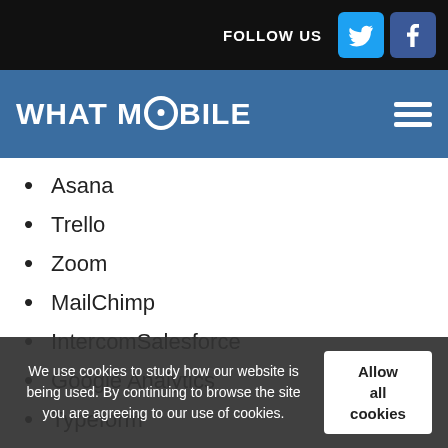FOLLOW US
WHAT MOBILE
Asana
Trello
Zoom
MailChimp
IntercomSalesforce
Google Analytics
Typeform
HubSpot
This way, Slack turns into a powerful tool for managing all business operations from one single app.
We use cookies to study how our website is being used. By continuing to browse the site you are agreeing to our use of cookies.